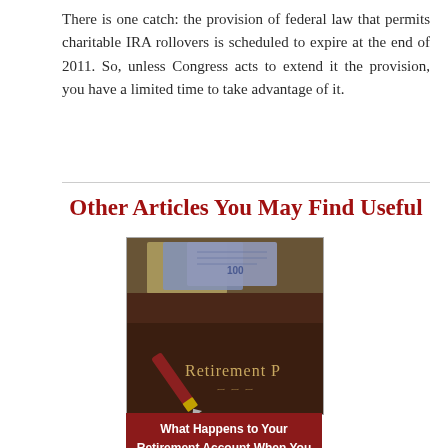There is one catch: the provision of federal law that permits charitable IRA rollovers is scheduled to expire at the end of 2011. So, unless Congress acts to extend it the provision, you have a limited time to take advantage of it.
Other Articles You May Find Useful
[Figure (photo): Photo of a retirement plan folder with a pen and stock certificates, showing 'Retirement P...' text on the cover]
What Happens to Your Retirement Account When You Die?